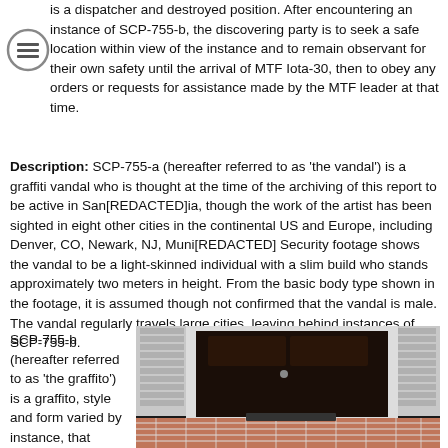is a dispatcher and destroyed position. After encountering an instance of SCP-755-b, the discovering party is to seek a safe location within view of the instance and to remain observant for their own safety until the arrival of MTF Iota-30, then to obey any orders or requests for assistance made by the MTF leader at that time.
Description: SCP-755-a (hereafter referred to as 'the vandal') is a graffiti vandal who is thought at the time of the archiving of this report to be active in San[REDACTED]ia, though the work of the artist has been sighted in eight other cities in the continental US and Europe, including Denver, CO, Newark, NJ, Muni[REDACTED] Security footage shows the vandal to be a light-skinned individual with a slim build who stands approximately two meters in height. From the basic body type shown in the footage, it is assumed though not confirmed that the vandal is male. The vandal regularly travels large cities, leaving behind instances of SCP-755-b.
SCP-755-b (hereafter referred to as 'the graffito') is a graffito, style and form varied by instance, that invariably
[Figure (photo): Photo of a dark front door with brick steps and white shutters/siding visible]